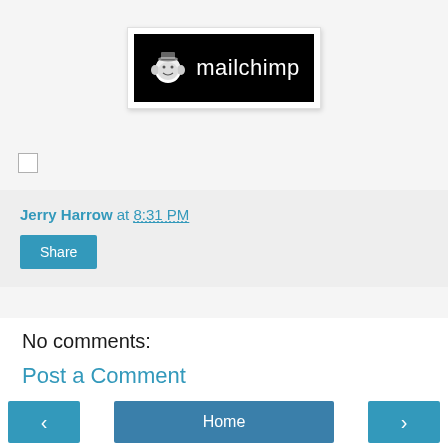[Figure (logo): Mailchimp logo on black background inside white bordered box]
Jerry Harrow at 8:31 PM
Share
No comments:
Post a Comment
Note: Only a member of this blog may post a comment.
< Home >